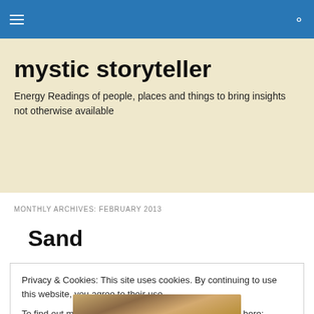mystic storyteller — navigation bar with menu and search icons
mystic storyteller
Energy Readings of people, places and things to bring insights not otherwise available
MONTHLY ARCHIVES: FEBRUARY 2013
Sand
Privacy & Cookies: This site uses cookies. By continuing to use this website, you agree to their use.
To find out more, including how to control cookies, see here: Cookie Policy
Close and accept
[Figure (photo): Partial view of sand dunes photograph at the bottom of the page]